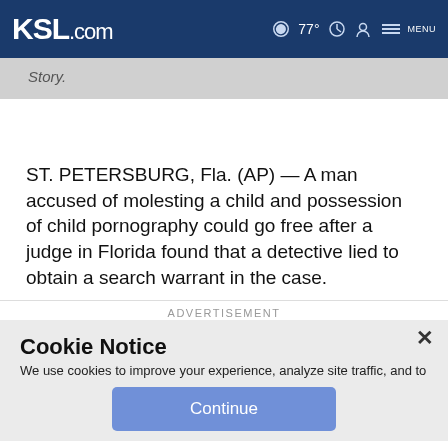KSL.com  77°  MENU
Story.
ST. PETERSBURG, Fla. (AP) — A man accused of molesting a child and possession of child pornography could go free after a judge in Florida found that a detective lied to obtain a search warrant in the case.
ADVERTISEMENT
Cookie Notice
We use cookies to improve your experience, analyze site traffic, and to personalize content and ads. By continuing to use our site, you consent to our use of cookies. Please visit our Terms of Use and Privacy Policy for more information.
Continue